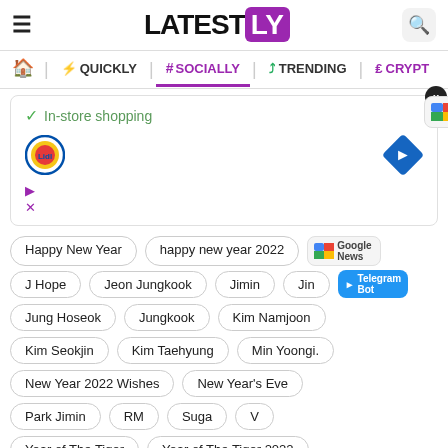LATESTLY
QUICKLY | # SOCIALLY | TRENDING | CRYPTO
[Figure (advertisement): Lidl ad with In-store shopping text, Lidl logo, navigation diamond icon, play and close buttons]
Happy New Year
happy new year 2022
J Hope
Jeon Jungkook
Jimin
Jin
Jung Hoseok
Jungkook
Kim Namjoon
Kim Seokjin
Kim Taehyung
Min Yoongi.
New Year 2022 Wishes
New Year's Eve
Park Jimin
RM
Suga
V
Year of The Tiger
Year of The Tiger 2022